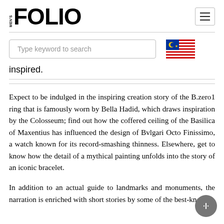MEN'S FOLIO
[Figure (screenshot): Search input box with placeholder 'Type keyword to search' and Malaysian flag icon]
inspired.
Expect to be indulged in the inspiring creation story of the B.zero1 ring that is famously worn by Bella Hadid, which draws inspiration by the Colosseum; find out how the coffered ceiling of the Basilica of Maxentius has influenced the design of Bvlgari Octo Finissimo, a watch known for its record-smashing thinness. Elsewhere, get to know how the detail of a mythical painting unfolds into the story of an iconic bracelet.
In addition to an actual guide to landmarks and monuments, the narration is enriched with short stories by some of the best-known